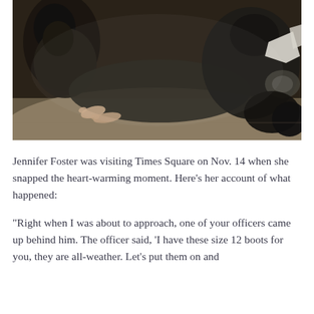[Figure (photo): A nighttime photograph showing a person lying or sitting on a sidewalk with bare feet. Another person is crouched nearby, appearing to assist them. A plastic bag or packaging is visible on the right side of the image.]
Jennifer Foster was visiting Times Square on Nov. 14 when she snapped the heart-warming moment. Here's her account of what happened:
“Right when I was about to approach, one of your officers came up behind him. The officer said, ‘I have these size 12 boots for you, they are all-weather. Let’s put them on and